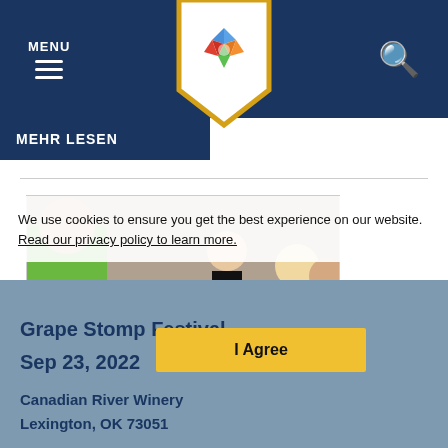MENU (navigation bar with hamburger icon and search icon)
[Figure (logo): Colorful star/pinwheel logo badge in white shield shape with gold border]
MEHR LESEN
[Figure (photo): Children reaching into a large metal tub filled with green grapes, grape stomping festival activity]
We use cookies to ensure you get the best experience on our website. Read our privacy policy to learn more.
I Agree
Grape Stomp Festival
Sep 23, 2022
Canadian River Winery
Lexington, OK 73051